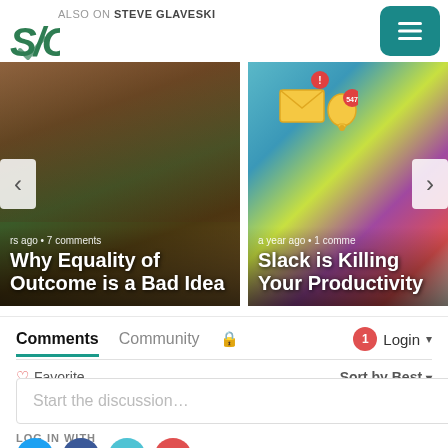ALSO ON STEVE GLAVESKI
[Figure (screenshot): Two blog post cards in a carousel. Left card: 'Why Equality of Outcome is a Bad Idea' with sports crowd background, showing 'rs ago • 7 comments'. Right card: 'Slack is Killing Your Productivity' with notification illustration background, showing 'a year ago • 1 comme'. Navigation arrows on both sides.]
Comments  Community  🔒  1  Login ▾
♡ Favorite  Sort by Best ▾
Start the discussion...
LOG IN WITH